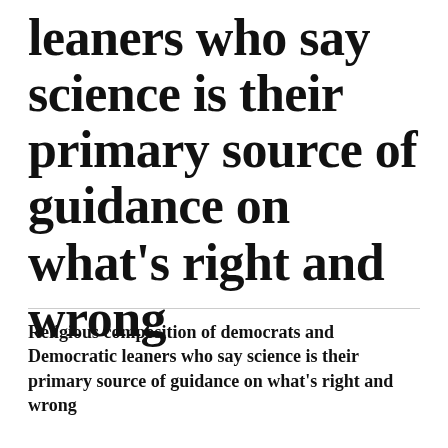leaners who say science is their primary source of guidance on what's right and wrong
Religious composition of democrats and Democratic leaners who say science is their primary source of guidance on what's right and wrong